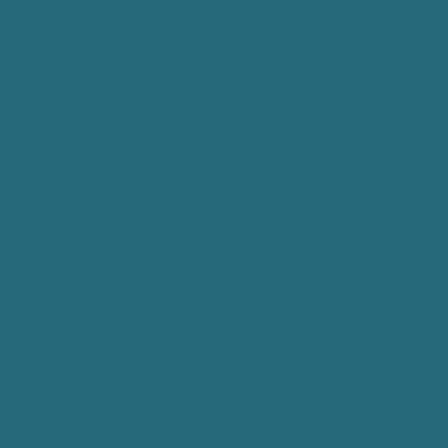rowsRemoved(parent, s...
Called when QTr... Opens all persisten...
| Parameters: |  |
| --- | --- |
|  | pa... in... |
|  | st... in... |
|  | en... in... |
rowsInserted(parent,...
Reimplementation Opens all persisten...
| Parameters: |  |
| --- | --- |
|  | pa... in... |
|  | st... in... |
|  | en... in... |